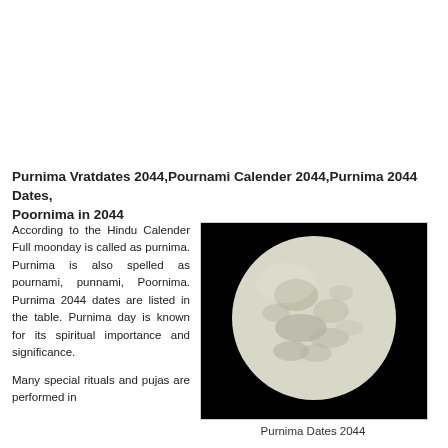Purnima Vratdates 2044,Pournami Calender 2044,Purnima 2044 Dates, Poornima in 2044
According to the Hindu Calender Full moonday is called as purnima. Purnima is also spelled as pournami, punnami, Poornima. Purnima 2044 dates are listed in the table. Purnima day is known for its spiritual importance and significance.
[Figure (photo): Close-up photograph of a full moon against a black night sky, showing grey lunar surface details.]
Purnima Dates 2044
Many special rituals and pujas are performed in